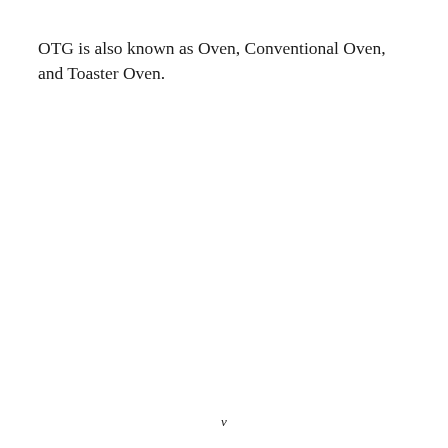OTG is also known as Oven, Conventional Oven, and Toaster Oven.
v